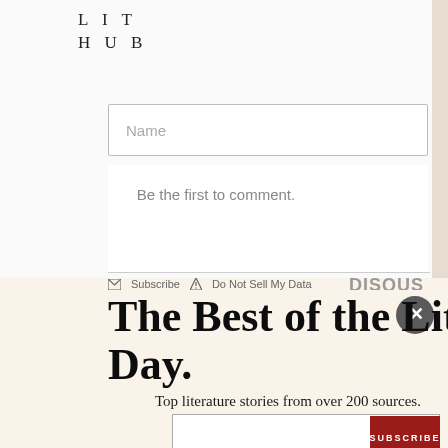LIT HUB
[Figure (screenshot): Name input field with placeholder text 'Name' in a comment form]
Be the first to comment.
Subscribe   Do Not Sell My Data   DISQUS
The Best of the Literary Internet, Every Day.
Top literature stories from over 200 sources.
[Figure (screenshot): Email subscription input box and SUBSCRIBE button]